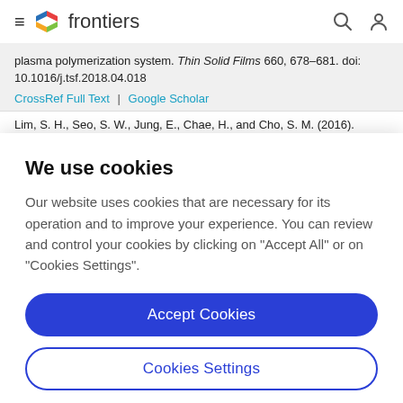frontiers
plasma polymerization system. Thin Solid Films 660, 678–681. doi: 10.1016/j.tsf.2018.04.018
CrossRef Full Text | Google Scholar
Lim, S. H., Seo, S. W., Jung, E., Chae, H., and Cho, S. M. (2016).
We use cookies
Our website uses cookies that are necessary for its operation and to improve your experience. You can review and control your cookies by clicking on "Accept All" or on "Cookies Settings".
Accept Cookies
Cookies Settings